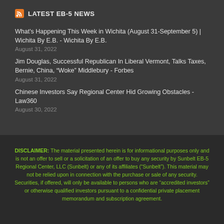LATEST EB-5 NEWS
What's Happening This Week in Wichita (August 31-September 5) | Wichita By E.B. - Wichita By E.B.
August 31, 2022
Jim Douglas, Successful Republican In Liberal Vermont, Talks Taxes, Bernie, China, “Woke” Middlebury - Forbes
August 31, 2022
Chinese Investors Say Regional Center Hid Growing Obstacles - Law360
August 30, 2022
DISCLAIMER: The material presented herein is for informational purposes only and is not an offer to sell or a solicitation of an offer to buy any security by Sunbelt EB-5 Regional Center, LLC (Sunbelt) or any of its affiliates (“Sunbelt”). This material may not be relied upon in connection with the purchase or sale of any security. Securities, if offered, will only be available to persons who are “accredited investors” or otherwise qualified investors pursuant to a confidential private placement memorandum and subscription agreement.